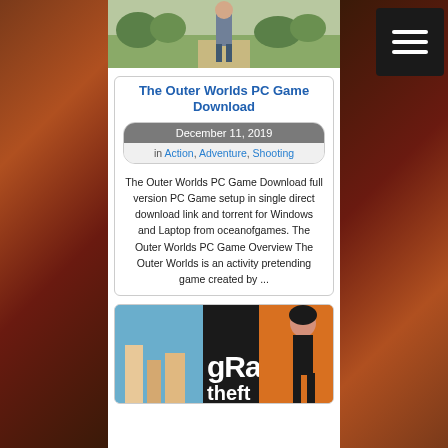[Figure (screenshot): Top portion of a game screenshot showing a character in an outdoor scene]
The Outer Worlds PC Game Download
December 11, 2019
in Action, Adventure, Shooting
The Outer Worlds PC Game Download full version PC Game setup in single direct download link and torrent for Windows and Laptop from oceanofgames. The Outer Worlds PC Game Overview The Outer Worlds is an activity pretending game created by ...
[Figure (screenshot): Bottom card showing a Grand Theft Auto game image with characters and stylized GTA text logo]